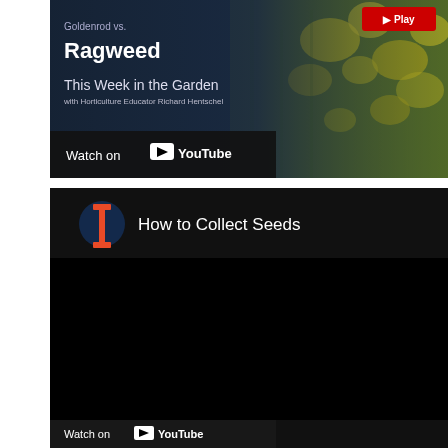[Figure (screenshot): YouTube video card for 'Goldenrod vs Ragweed - This Week in the Garden with Horticulture Educator Richard Hentschel', showing a Watch on YouTube button and yellow flowers background.]
[Figure (screenshot): YouTube video embed for 'How to Collect Seeds' with University of Illinois I-logo, black video area, and Watch on YouTube bar at bottom.]